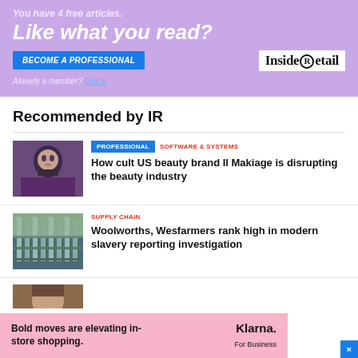You have 4 free articles.
Like what you read?
BECOME A PROFESSIONAL
InsideRetail
Already a member? Log in
Recommended by IR
PROFESSIONAL  SOFTWARE & SYSTEMS
How cult US beauty brand Il Makiage is disrupting the beauty industry
[Figure (photo): Woman with dark hair and dramatic makeup wearing purple fur]
SUPPLY CHAIN
Woolworths, Wesfarmers rank high in modern slavery reporting investigation
[Figure (photo): Warehouse interior with shelves and equipment]
Bold moves are elevating in-store shopping.
Klarna. For Business